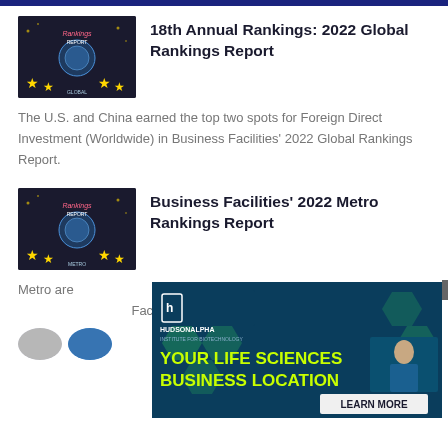18th Annual Rankings: 2022 Global Rankings Report
The U.S. and China earned the top two spots for Foreign Direct Investment (Worldwide) in Business Facilities' 2022 Global Rankings Report.
Business Facilities' 2022 Metro Rankings Report
Metro areas competing for attracting and retaining businesses were ranked in Business Facilities' 2022 Metro Rankings Report.
[Figure (infographic): HudsonAlpha Institute for Biotechnology advertisement: YOUR LIFE SCIENCES BUSINESS LOCATION - LEARN MORE]